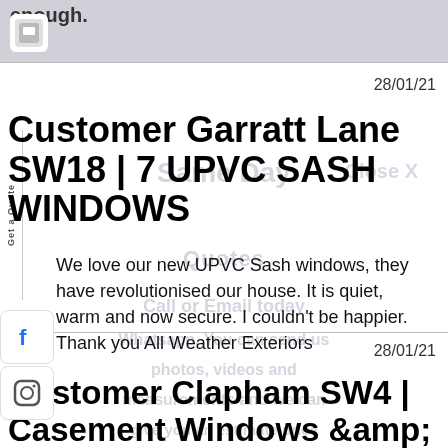enough.
28/01/21
Customer Garratt Lane SW18 | 7 UPVC SASH WINDOWS
We love our new UPVC Sash windows, they have revolutionised our house. It is quiet, warm and now secure. I couldn't be happier. Thank you All Weather Exteriors
28/01/21
Customer Clapham SW4 | Casement Windows &amp;